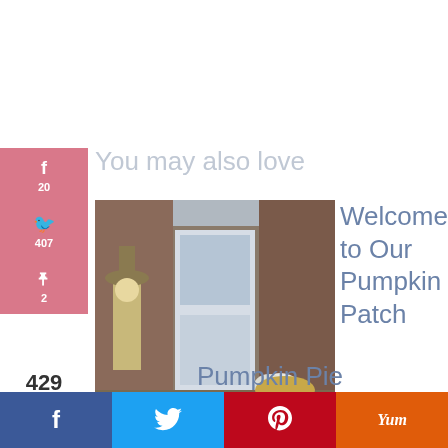You may also love
[Figure (photo): Scarecrow and white pumpkin decoration near a house front door]
Welcome to Our Pumpkin Patch
Pumpkin Pie
f | Twitter bird | Pinterest P | Yum